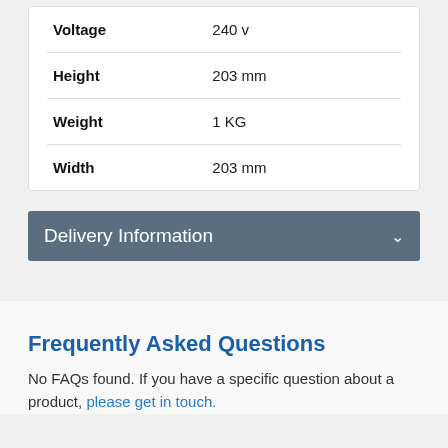| Property | Value |
| --- | --- |
| Voltage | 240 v |
| Height | 203 mm |
| Weight | 1 KG |
| Width | 203 mm |
Delivery Information
Frequently Asked Questions
No FAQs found. If you have a specific question about a product, please get in touch.